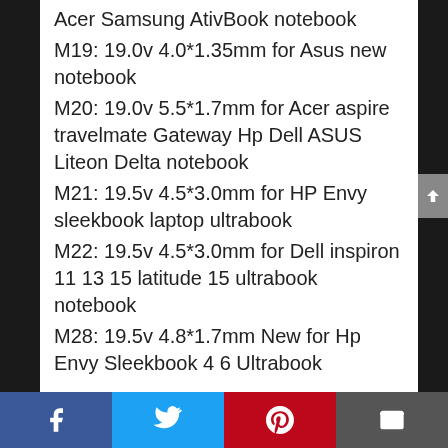Acer Samsung AtivBook notebook
M19: 19.0v 4.0*1.35mm for Asus new notebook
M20: 19.0v 5.5*1.7mm for Acer aspire travelmate Gateway Hp Dell ASUS Liteon Delta notebook
M21: 19.5v 4.5*3.0mm for HP Envy sleekbook laptop ultrabook
M22: 19.5v 4.5*3.0mm for Dell inspiron 11 13 15 latitude 15 ultrabook notebook
M28: 19.5v 4.8*1.7mm New for Hp Envy Sleekbook 4 6 Ultrabook
Important Note
Please ensure the connector size and output